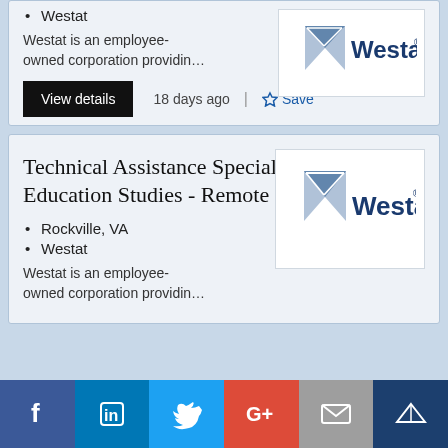Westat
Westat is an employee-owned corporation providin…
[Figure (logo): Westat logo with triangle and text]
View details   18 days ago   Save
Technical Assistance Specialist - Education Studies - Remote
Rockville, VA
Westat
Westat is an employee-owned corporation providin…
[Figure (logo): Westat logo with triangle and text]
[Figure (infographic): Social media share bar: Facebook, LinkedIn, Twitter, Google+, Email, Mightybell]